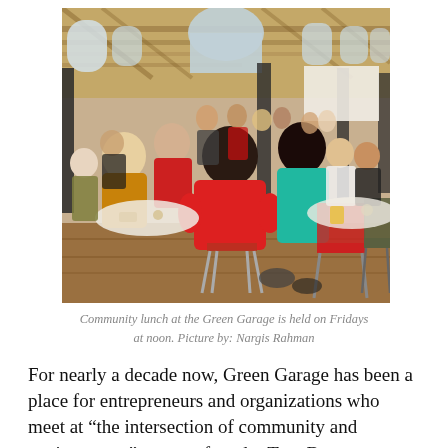[Figure (photo): A community lunch event at Green Garage. Many people are seated around round tables in a large hall with wood floors and arched windows. Several people wear red clothing. The setting appears to be a gathering or meeting event.]
Community lunch at the Green Garage is held on Fridays at noon. Picture by: Nargis Rahman
For nearly a decade now, Green Garage has been a place for entrepreneurs and organizations who meet at “the intersection of community and environment,” says co-founder Tom Brennan.